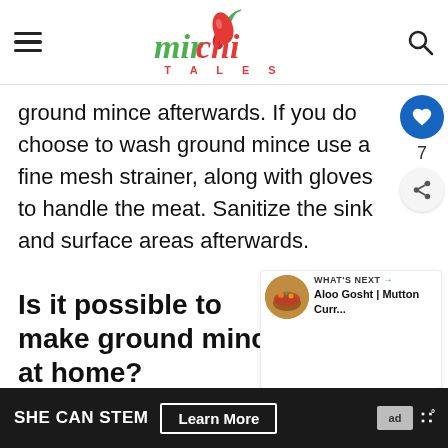mirchi TALES
ground mince afterwards. If you do choose to wash ground mince use a fine mesh strainer, along with gloves to handle the meat. Sanitize the sink and surface areas afterwards.
Is it possible to make ground mince at home?
It is if you have the right equipment. For be...der
[Figure (other): What's Next widget showing Aloo Gosht | Mutton Curr...]
[Figure (other): Advertisement bar: SHE CAN STEM Learn More, with ad label and logo]